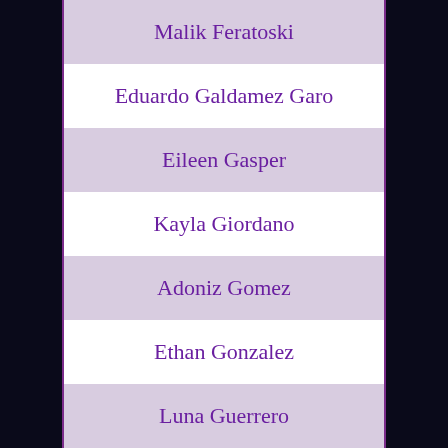Malik Feratoski
Eduardo Galdamez Garo
Eileen Gasper
Kayla Giordano
Adoniz Gomez
Ethan Gonzalez
Luna Guerrero